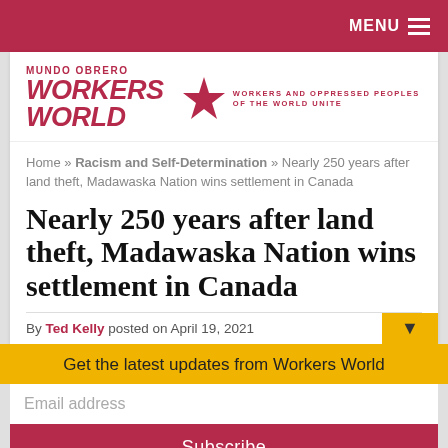MENU
[Figure (logo): Workers World newspaper logo with star, tagline: WORKERS AND OPPRESSED PEOPLES OF THE WORLD UNITE]
Home » Racism and Self-Determination » Nearly 250 years after land theft, Madawaska Nation wins settlement in Canada
Nearly 250 years after land theft, Madawaska Nation wins settlement in Canada
By Ted Kelly posted on April 19, 2021
Get the latest updates from Workers World
Email address
Subscribe